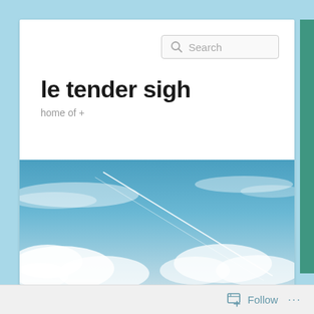[Figure (screenshot): Website header screenshot showing a blog called 'le tender sigh' with a search bar, subtitle 'home of +', and a sky photo with airplane contrail]
le tender sigh
home of +
[Figure (photo): Sky photo with wispy clouds and an airplane contrail crossing diagonally]
Follow  ...